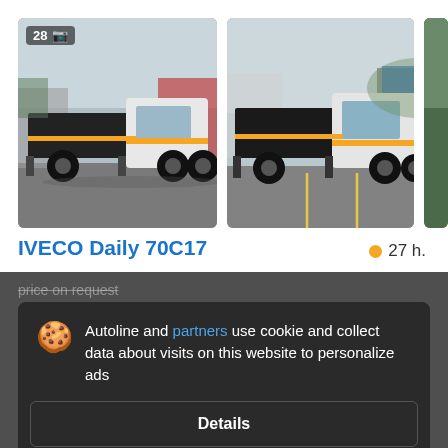[Figure (photo): Two photos of an IVECO Daily 70C17 tipper truck in a parking lot, overcast sky, white cab with orange stripe, black tipper body. Left photo shows badge '28' and camera icon. A third photo is partially visible on the right edge.]
IVECO Daily 70C17
● 27 h.
price on request
Details
Accept and close